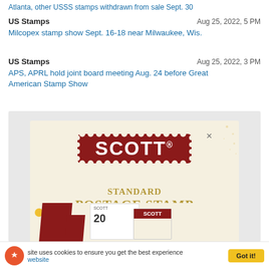Atlanta, other USSS stamps withdrawn from sale Sept. 30
US Stamps
Aug 25, 2022, 5 PM
Milcopex stamp show Sept. 16-18 near Milwaukee, Wis.
US Stamps
Aug 25, 2022, 3 PM
APS, APRL hold joint board meeting Aug. 24 before Great American Stamp Show
[Figure (illustration): Scott Standard Postage Stamp Catalogue advertisement showing the Scott logo on a red perforated stamp background, with gold text reading STANDARD POSTAGE STAMP CATALOGUE, and catalogue books at the bottom.]
This site uses cookies to ensure you get the best experience on our website